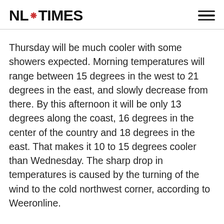NL#TIMES
Thursday will be much cooler with some showers expected. Morning temperatures will range between 15 degrees in the west to 21 degrees in the east, and slowly decrease from there. By this afternoon it will be only 13 degrees along the coast, 16 degrees in the center of the country and 18 degrees in the east. That makes it 10 to 15 degrees cooler than Wednesday. The sharp drop in temperatures is caused by the turning of the wind to the cold northwest corner, according to Weeronline.
The cool weather is expected to last for the coming days.